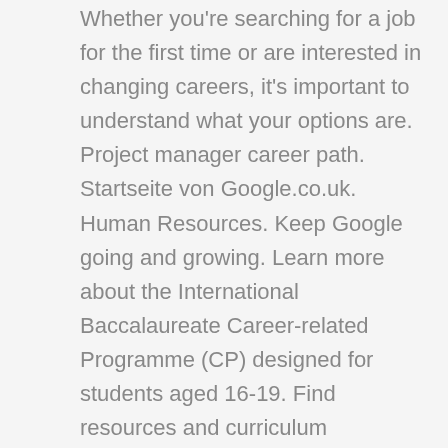Whether you're searching for a job for the first time or are interested in changing careers, it's important to understand what your options are. Project manager career path. Startseite von Google.co.uk. Human Resources. Keep Google going and growing. Learn more about the International Baccalaureate Career-related Programme (CP) designed for students aged 16-19. Find resources and curriculum information and learn how to offer the programme. A career is an evolving sequence of work activities and positions that individuals experience over time as well as the associated attitudes, knowledge and skills they develop throughout their life. How much does a Program Manager make? Data analysts work on Wall Street at big investment banks , hedge funds , and private equity firms. Outreach. The Non-Conventional Career Path of A Project Manager. It is not impossible but its a long road. This article